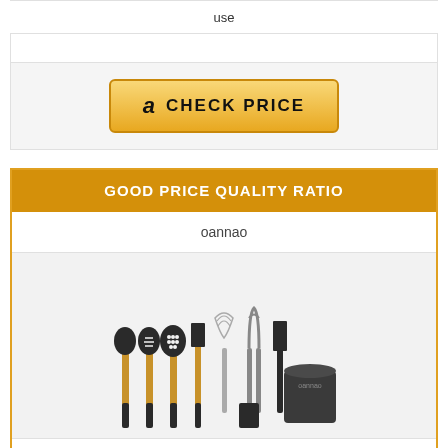use
[Figure (other): Amazon CHECK PRICE button with Amazon logo]
GOOD PRICE QUALITY RATIO
oannao
[Figure (photo): 14-piece silicone cooking utensil set with wooden handles and a dark cylindrical holder, showing spatulas, spoons, whisk, tongs, and other kitchen tools]
14 Pcs Silicone Cooking Utensils Kitchen Utensil Set -